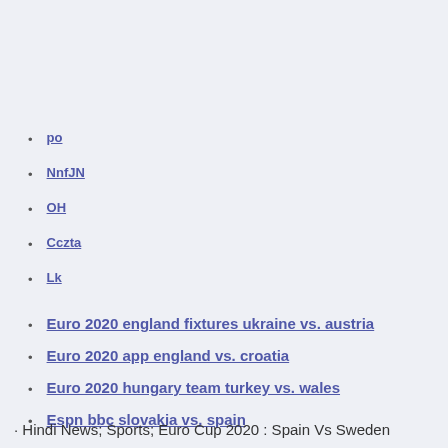po
NnfJN
OH
Cczta
Lk
Euro 2020 england fixtures ukraine vs. austria
Euro 2020 app england vs. croatia
Euro 2020 hungary team turkey vs. wales
Espn bbc slovakia vs. spain
· Hindi News; Sports; Euro Cup 2020 : Spain Vs Sweden